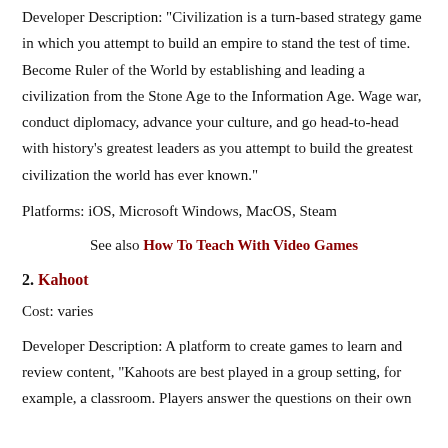Developer Description: "Civilization is a turn-based strategy game in which you attempt to build an empire to stand the test of time. Become Ruler of the World by establishing and leading a civilization from the Stone Age to the Information Age. Wage war, conduct diplomacy, advance your culture, and go head-to-head with history's greatest leaders as you attempt to build the greatest civilization the world has ever known."
Platforms: iOS, Microsoft Windows, MacOS, Steam
See also How To Teach With Video Games
2. Kahoot
Cost: varies
Developer Description: A platform to create games to learn and review content, "Kahoots are best played in a group setting, for example, a classroom. Players answer the questions on their own